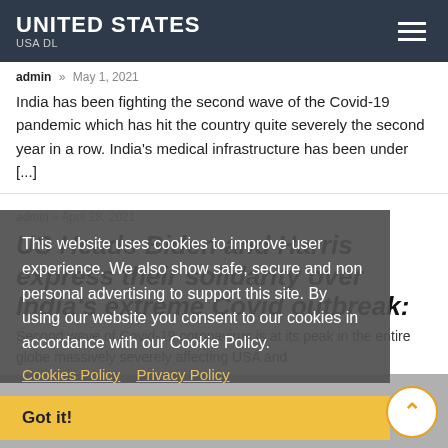UNITED STATES / USA DL
admin » May 1, 2021
India has been fighting the second wave of the Covid-19 pandemic which has hit the country quite severely the second year in a row. India's medical infrastructure has been under [...]
This website uses cookies to improve user experience. We also show safe, secure and non personal advertising to support this site. By using our website you consent to our cookies in accordance with our Cookie Policy.
Cookies Policy   Privacy Policy
US Heads Biden and Harris express their solidarity over India's extreme Covid outbreak:
admin » April 28, 2021
Second wave of Covid-19 coronavirus is at its peak in the entire globe massively severely affecting USA and
Got it!